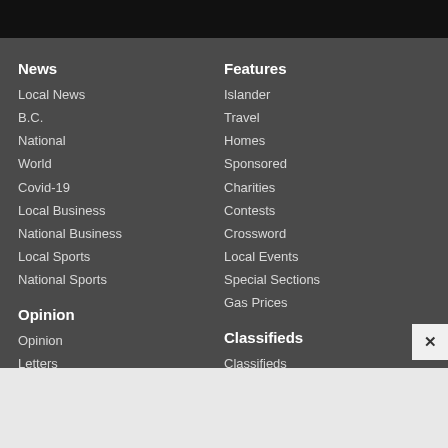News
Local News
B.C.
National
World
Covid-19
Local Business
National Business
Local Sports
National Sports
Opinion
Opinion
Letters
Submit a Letter
Blogs
Features
Islander
Travel
Homes
Sponsored
Charities
Contests
Crossword
Local Events
Special Sections
Gas Prices
Classifieds
Classifieds
Celebrations
Place an Ad